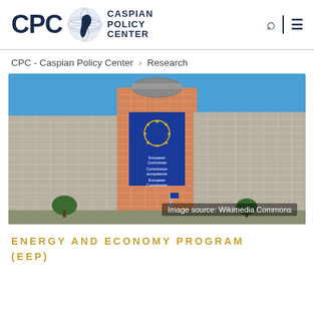CPC Caspian Policy Center
CPC - Caspian Policy Center › Research
[Figure (photo): Photo of the European Commission Berlaymont building in Brussels with a large blue banner displaying 'European Commission' in multiple languages. Image source: Wikimedia Commons]
Image source: Wikimedia Commons
ENERGY AND ECONOMY PROGRAM (EEP)